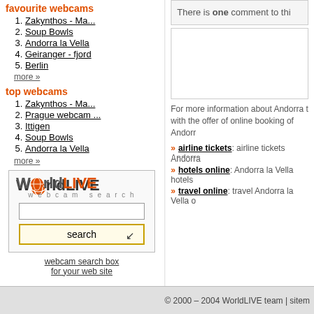favourite webcams
1. Zakynthos - Ma...
2. Soup Bowls
3. Andorra la Vella
4. Geiranger - fjord
5. Berlin
more »
top webcams
1. Zakynthos - Ma...
2. Prague webcam ...
3. Ittigen
4. Soup Bowls
5. Andorra la Vella
more »
[Figure (screenshot): WorldLIVE webcam search box widget with logo, text input, and search button]
webcam search box
for your web site
There is one comment to thi...
For more information about Andorra t... with the offer of online booking of Andorr...
airline tickets: airline tickets Andorra...
hotels online: Andorra la Vella hotels...
travel online: travel Andorra la Vella o...
© 2000 – 2004 WorldLIVE team | sitem...